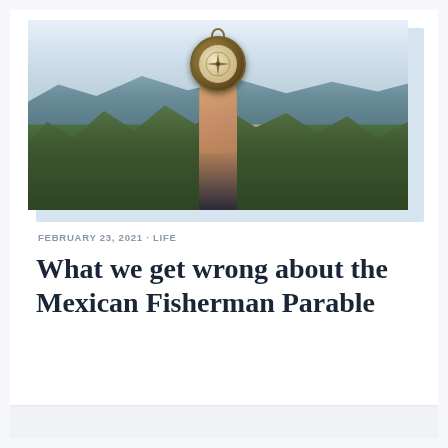[Figure (photo): A hand holding a vintage brass compass up against a blurred outdoor background with mountains and green trees]
FEBRUARY 23, 2021 · LIFE
What we get wrong about the Mexican Fisherman Parable